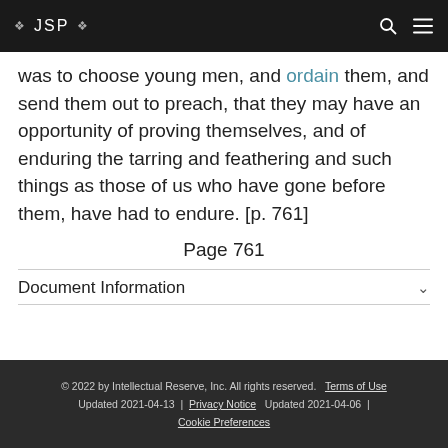❖ JSP ❖
was to choose young men, and ordain them, and send them out to preach, that they may have an opportunity of proving themselves, and of enduring the tarring and feathering and such things as those of us who have gone before them, have had to endure. [p. 761]
Page 761
Document Information
© 2022 by Intellectual Reserve, Inc. All rights reserved. Terms of Use Updated 2021-04-13 | Privacy Notice Updated 2021-04-06 | Cookie Preferences